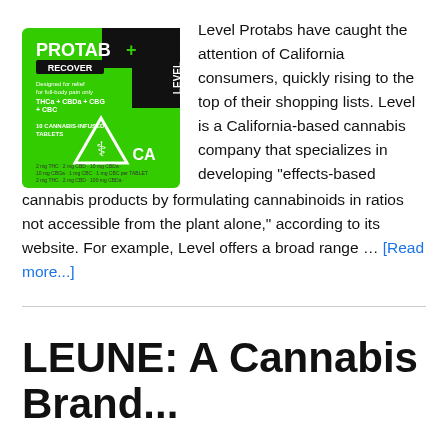[Figure (photo): PROTAB+ Recover cannabis-infused tablets product packaging, green background with black design elements and CA cannabis warning symbol]
Level Protabs have caught the attention of California consumers, quickly rising to the top of their shopping lists.  Level is a California-based cannabis company that specializes in developing "effects-based cannabis products by formulating cannabinoids in ratios not accessible from the plant alone," according to its website. For example, Level offers a broad range … [Read more...]
LEUNE: A Cannabis Brand...